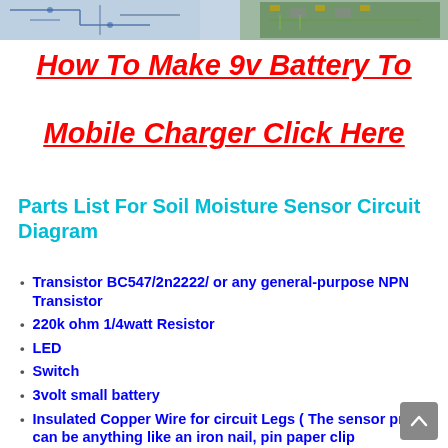[Figure (photo): Partial image of circuit diagrams and electronics at top of page]
How To Make 9v Battery To Mobile Charger Click Here
Parts List For Soil Moisture Sensor Circuit Diagram
Transistor BC547/2n2222/ or any general-purpose NPN Transistor
220k ohm 1/4watt Resistor
LED
Switch
3volt small battery
Insulated Copper Wire for circuit Legs ( The sensor probes can be anything like an iron nail, pin paper clip